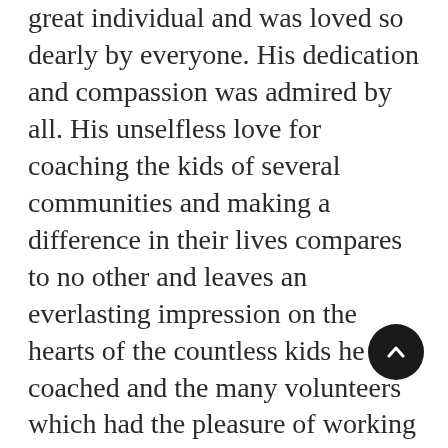great individual and was loved so dearly by everyone. His dedication and compassion was admired by all. His unselfless love for coaching the kids of several communities and making a difference in their lives compares to no other and leaves an everlasting impression on the hearts of the countless kids he coached and the many volunteers which had the pleasure of working with him both on and off the field. There is nothing stronger than the heart of a volunteer! The heart of this great man will truly be missed but we will find comfort in carrying forward with the beautiful example he has gifted us. Our hearts go out to his wife Stacy, his daughter Zoey, and the rest of the Ruiz family. Coach Gus will greatly be missed. Our communities mourn his absence but